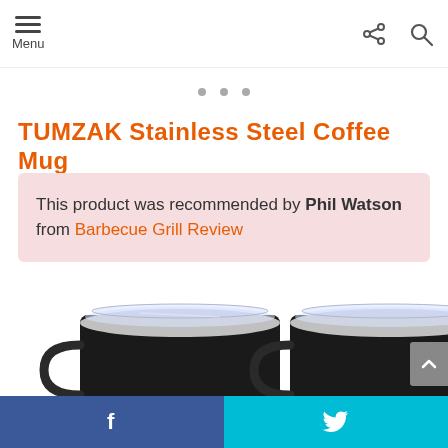Menu
TUMZAK Stainless Steel Coffee Mug
This product was recommended by Phil Watson from Barbecue Grill Review
[Figure (photo): Two black stainless steel coffee mugs with clear lids and handles, viewed from above at slight angle]
f  (Twitter bird icon)